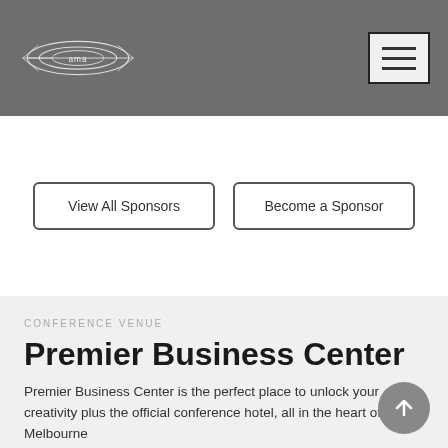ama logo and navigation menu
View All Sponsors
Become a Sponsor
CONFERENCE VENUE
Premier Business Center
Premier Business Center is the perfect place to unlock your creativity plus the official conference hotel, all in the heart of Melbourne